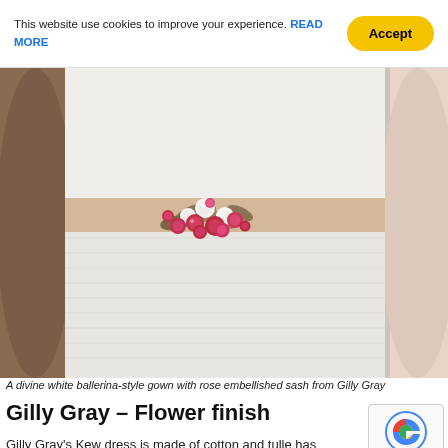This website use cookies to improve your experience. READ MORE  Accept
[Figure (photo): Close-up photo of a white ballerina-style wedding gown with a rose embellished sash at the waist, showing floral decorations including pink and white roses on a beige ribbon belt.]
A divine white ballerina-style gown with rose embellished sash from Gilly Gray
Gilly Gray – Flower finish
Gilly Gray's Kew dress is made of cotton and tulle has